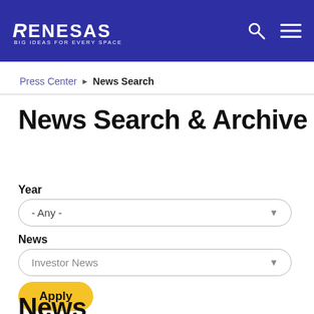RENESAS — BIG IDEAS FOR EVERY SPACE
Press Center  ▶  News Search
News Search & Archive
Year
- Any -
News
Investor News
Apply
News